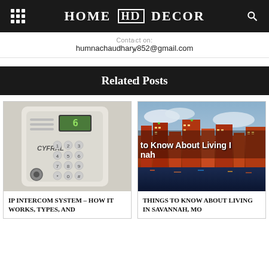HOME HD DECOR
Contact on:
humnachaudhary852@gmail.com
Related Posts
[Figure (photo): Close-up photo of a CYFRAL brand intercom keypad device with numeric buttons and a small green display]
IP INTERCOM SYSTEM – HOW IT WORKS, TYPES, AND ADVANTAGES
[Figure (photo): Night cityscape photo of Savannah, Missouri with text overlay reading 'to Know About Living In ...nah']
THINGS TO KNOW ABOUT LIVING IN SAVANNAH, MO